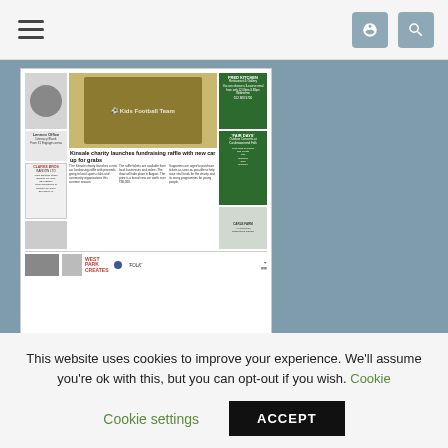Navigation bar with hamburger menu and icons
[Figure (screenshot): Thumbnail of a newspaper front page showing a charity fundraising story about Kinsale with a car raffle, featuring youth sports team photo and various advertisements]
July 2022 Issue
This website uses cookies to improve your experience. We'll assume you're ok with this, but you can opt-out if you wish. Cookie settings ACCEPT